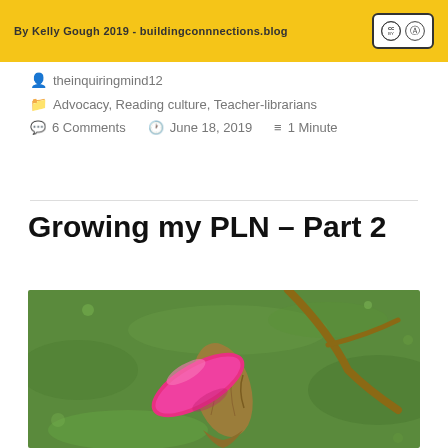By Kelly Gough 2019 - buildingconnnections.blog
theinquiringmind12
Advocacy, Reading culture, Teacher-librarians
6 Comments   June 18, 2019   1 Minute
Growing my PLN – Part 2
[Figure (photo): Close-up photo of a pink magnolia flower bud with fuzzy brown sepals and bare branch in background against green grass]